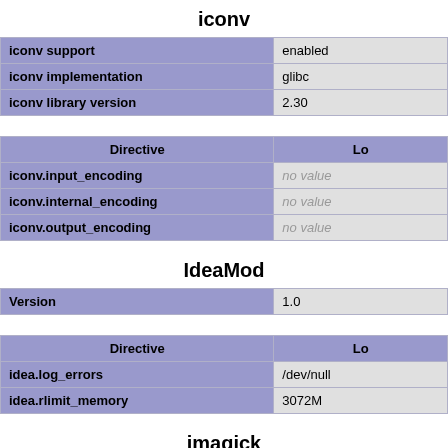iconv
| iconv support | enabled |
| iconv implementation | glibc |
| iconv library version | 2.30 |
| Directive | Lo |
| --- | --- |
| iconv.input_encoding | no value |
| iconv.internal_encoding | no value |
| iconv.output_encoding | no value |
IdeaMod
| Version | 1.0 |
| Directive | Lo |
| --- | --- |
| idea.log_errors | /dev/null |
| idea.rlimit_memory | 3072M |
imagick